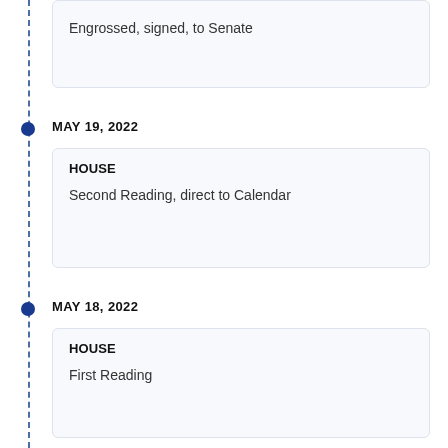Engrossed, signed, to Senate
MAY 19, 2022
HOUSE
Second Reading, direct to Calendar
MAY 18, 2022
HOUSE
First Reading